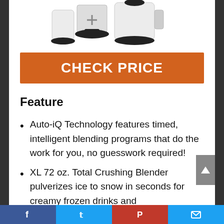[Figure (photo): Product photo of a blender with multiple cups and attachments on white background]
CHECK PRICE
Feature
Auto-iQ Technology features timed, intelligent blending programs that do the work for you, no guesswork required!
XL 72 oz. Total Crushing Blender pulverizes ice to snow in seconds for creamy frozen drinks and